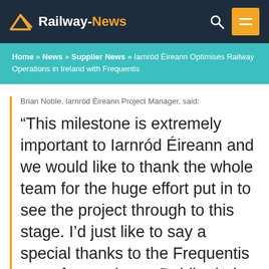Railway-News
Home » News » Supplier News » Iarnród Éireann Optimises Railway Operations in Ireland with Frequentis
Brian Noble, Iarnród Éireann Project Manager, said:
“This milestone is extremely important to Iarnród Éireann and we would like to thank the whole team for the huge effort put in to see the project through to this stage. I’d just like to say a special thanks to the Frequentis team for coming to Dublin during these difficult times. Their